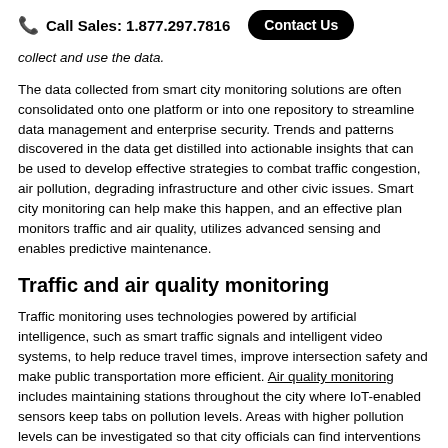Call Sales: 1.877.297.7816  Contact Us
collect and use the data.
The data collected from smart city monitoring solutions are often consolidated onto one platform or into one repository to streamline data management and enterprise security. Trends and patterns discovered in the data get distilled into actionable insights that can be used to develop effective strategies to combat traffic congestion, air pollution, degrading infrastructure and other civic issues. Smart city monitoring can help make this happen, and an effective plan monitors traffic and air quality, utilizes advanced sensing and enables predictive maintenance.
Traffic and air quality monitoring
Traffic monitoring uses technologies powered by artificial intelligence, such as smart traffic signals and intelligent video systems, to help reduce travel times, improve intersection safety and make public transportation more efficient. Air quality monitoring includes maintaining stations throughout the city where IoT-enabled sensors keep tabs on pollution levels. Areas with higher pollution levels can be investigated so that city officials can find interventions that improve air quality, whether those are policies or products.